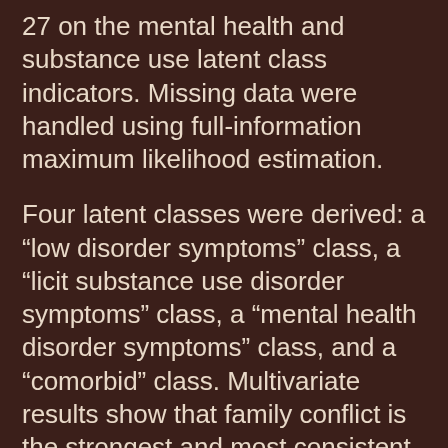27 on the mental health and substance use latent class indicators. Missing data were handled using full-information maximum likelihood estimation.
Four latent classes were derived: a “low disorder symptoms” class, a “licit substance use disorder symptoms” class, a “mental health disorder symptoms” class, and a “comorbid” class. Multivariate results show that family conflict is the strongest and most consistent predictor of the adult mental health and substance use classes. Family management, but not family involvement, was also predictive of the adult outcome classes.
It is important to lessen family conflict and improve family management to prevent later